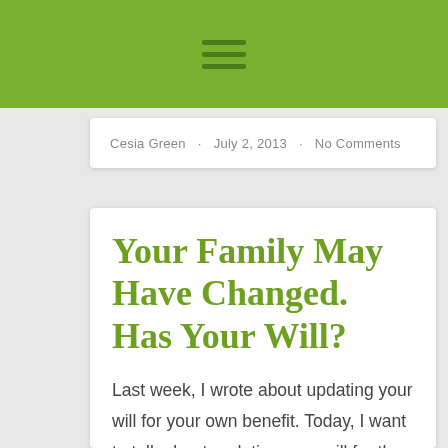[Figure (other): Green navigation header bar with hamburger menu icon (three horizontal dark green lines)]
Cesia Green · July 2, 2013 · No Comments
Your Family May Have Changed. Has Your Will?
Last week, I wrote about updating your will for your own benefit. Today, I want to talk about updating your will for the benefit of